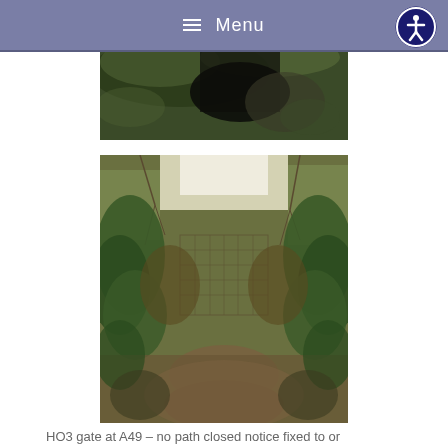Menu
[Figure (photo): Partial view of a countryside scene with dark vegetation and foliage, appears to be the upper portion of an outdoor photograph.]
[Figure (photo): Overgrown path or gate (HO3 gate at A49) showing dense vegetation, ivy, and brambles blocking a pathway. No path closed notice is visible fixed to or near the gate.]
HO3 gate at A49 – no path closed notice fixed to or near the